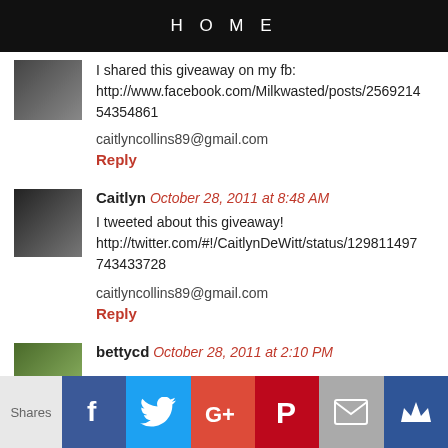HOME
I shared this giveaway on my fb: http://www.facebook.com/Milkwasted/posts/256921454354861

caitlyncollins89@gmail.com
Reply
Caitlyn October 28, 2011 at 8:48 AM
I tweeted about this giveaway! http://twitter.com/#!/CaitlynDeWitt/status/129811497743433728

caitlyncollins89@gmail.com
Reply
bettycd October 28, 2011 at 2:10 PM